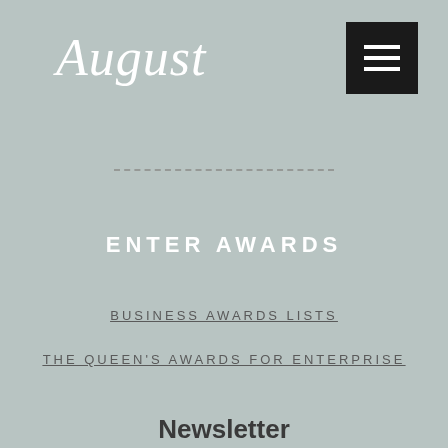August
[Figure (other): Hamburger menu icon button — black square with three white horizontal lines]
[Figure (other): Decorative dashed separator line]
ENTER AWARDS
BUSINESS AWARDS LISTS
THE QUEEN'S AWARDS FOR ENTERPRISE
Newsletter
Enter Your Email Addres
SUBSCRIBE